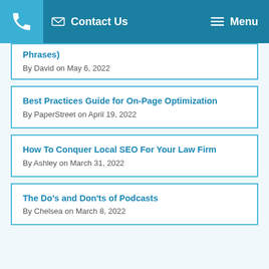Contact Us | Menu
Phrases)
By David on May 6, 2022
Best Practices Guide for On-Page Optimization
By PaperStreet on April 19, 2022
How To Conquer Local SEO For Your Law Firm
By Ashley on March 31, 2022
The Do's and Don'ts of Podcasts
By Chelsea on March 8, 2022